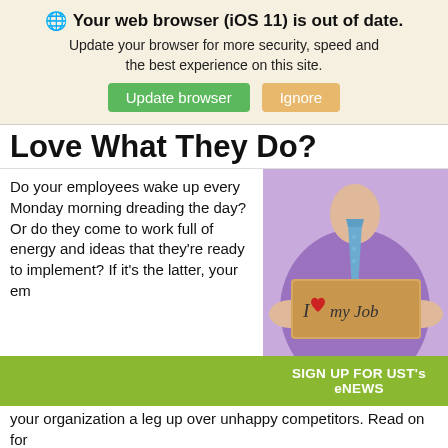🌐 Your web browser (iOS 11) is out of date. Update your browser for more security, speed and the best experience on this site. [Update browser] [Ignore]
Love What They Do?
Do your employees wake up every Monday morning dreading the day? Or do they come to work full of energy and ideas that they're ready to implement? If it's the latter, your em
[Figure (photo): Person in purple shirt and blue tie holding a cardboard sign reading 'I ❤ my Job']
SIGN UP FOR UST's eNEWS
your organization a leg up over unhappy competitors. Read on for